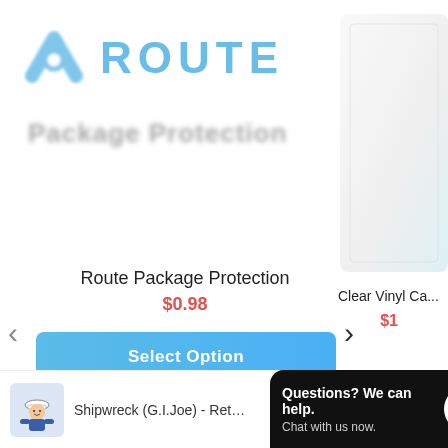[Figure (logo): Route brand logo with blue chevron/arrow icon and ROUTE text in blue]
Package Protection
Route Package Protection
$0.98
Select Option
[Figure (photo): Partially visible clear vinyl case product image on right side]
Clear Vinyl Ca...
$1...
[Figure (screenshot): Chat widget popup: Questions? We can help. Chat with us now. with chat bubble icon]
[Figure (photo): Thumbnail of Shipwreck G.I.Joe Funko Pop figure]
Shipwreck (G.I.Joe) - Retro...